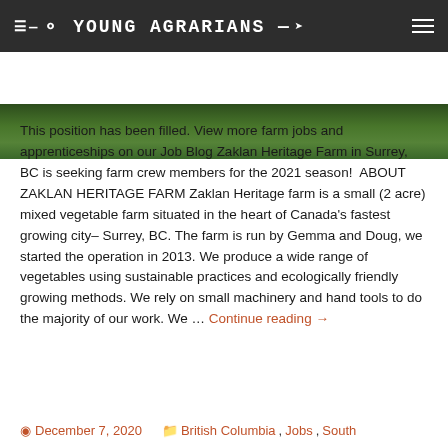YOUNG AGRARIANS
[Figure (photo): Partial image of a farm/garden with green foliage visible]
This position has been filled. View more farm jobs and apprenticeships on our Job Blog Zaklan Heritage Farm in Surrey, BC is seeking farm crew members for the 2021 season!  ABOUT ZAKLAN HERITAGE FARM Zaklan Heritage farm is a small (2 acre) mixed vegetable farm situated in the heart of Canada's fastest growing city- Surrey, BC. The farm is run by Gemma and Doug, we started the operation in 2013. We produce a wide range of vegetables using sustainable practices and ecologically friendly growing methods. We rely on small machinery and hand tools to do the majority of our work. We ... Continue reading →
December 7, 2020   British Columbia, Jobs, South